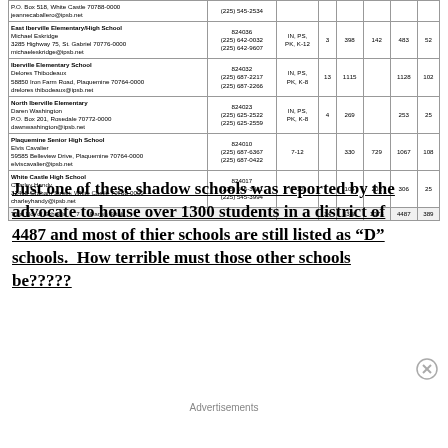| School/Principal/Address/Email | Code/Phone | Grades | Schools | PK-6 | 7-12 | Total | SpEd |
| --- | --- | --- | --- | --- | --- | --- | --- |
| P.O. Box 518, White Castle 70788-0000
jeannecaballero@ipsb.net | (225) 545-2534 |  |  |  |  |  |  |
| East Iberville Elementary/High School
Michael Eskridge
3285 Highway 75, St. Gabriel 70776-0000
michaeleskridge@ipsb.net | 024036
(225) 642-0032
(225) 642-9607 | IN, PS, PK, K-12 | 3 | 398 | 142 | 483 | 52 |
| Iberville Elementary School
Delores Thibodeaux
58850 Iron Farm Road, Plaquemine 70764-0000
dreloresthibodeaux@ipsb.net | 024032
(225) 687-2217
(225) 687-2266 | IN, PS, PK, K-8 | 13 | 1115 |  | 1128 | 102 |
| North Iberville Elementary
Daren Washington
P.O. Box 201, Rosedale 70772-0000
dawnwashington@ipsb.net | 024023
(225) 625-2522
(225) 625-2559 | IN, PS, PK, K-8 | 4 | 269 |  | 253 | 25 |
| Plaquemine Senior High School
Elvis Cavalier
59585 Belleview Drive, Plaquemine 70764-0000
elviscavalier@ipsb.net | 024010
(225) 687-6367
(225) 687-0422 | 7-12 |  | 330 | 729 | 1067 | 108 |
| White Castle High School
Charley Handy
32465 Graham Street, White Castle 70788-0000
charleyhandy@ipsb.net | 024017
(225) 545-3821
(225) 545-3994 | 7-12 |  | 104 | 202 | 306 | 25 |
| Total No. of Schools	7 | Parish Totals |  | 34 | 3388 | 1073 | 4487 | 389 |
Just one of these shadow schools was reported by the advocate to house over 1300 students in a district of 4487 and most of thier schools are still listed as "D" schools.  How terrible must those other schools be?????
Advertisements